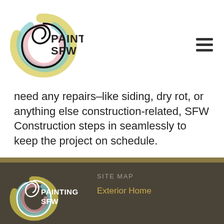SFW PAINTING [logo + hamburger menu]
need any repairs–like siding, dry rot, or anything else construction-related, SFW Construction steps in seamlessly to keep the project on schedule.
[Figure (logo): SFW Painting logo in footer on dark background]
SITE MAP
Exterior Home